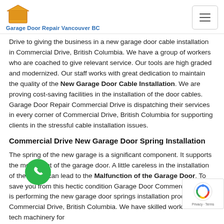Garage Door Repair Vancouver BC
Drive to giving the business in a new garage door cable installation in Commercial Drive, British Columbia. We have a group of workers who are coached to give relevant service. Our tools are high graded and modernized. Our staff works with great dedication to maintain the quality of the New Garage Door Cable Installation. We are proving cost-saving facilities in the installation of the door cables. Garage Door Repair Commercial Drive is dispatching their services in every corner of Commercial Drive, British Columbia for supporting clients in the stressful cable installation issues.
Commercial Drive New Garage Door Spring Installation
The spring of the new garage is a significant component. It supports the movement of the garage door. A little careless in the installation of the spring can lead to the Malfunction of the Garage Door. To save you from this hectic condition Garage Door Commercial Drive is performing the new garage door springs installation process in Commercial Drive, British Columbia. We have skilled workers and hi-tech machinery for